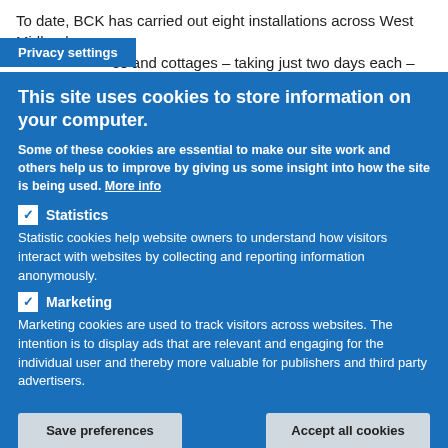To date, BCK has carried out eight installations across West Midland es and cottages – taking just two days each – with more installations in the coming months.
Privacy settings
This site uses cookies to store information on your computer.
Some of these cookies are essential to make our site work and others help us to improve by giving us some insight into how the site is being used. More info
✓ Statistics
Statistic cookies help website owners to understand how visitors interact with websites by collecting and reporting information anonymously.
✓ Marketing
Marketing cookies are used to track visitors across websites. The intention is to display ads that are relevant and engaging for the individual user and thereby more valuable for publishers and third party advertisers.
Save preferences | Accept all cookies